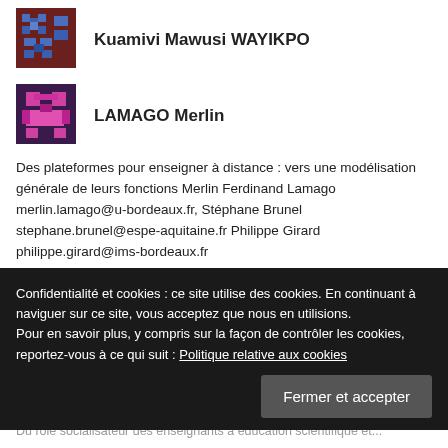[Figure (illustration): Pixel art avatar with blue/dark tones for Kuamivi Mawusi WAYIKPO]
Kuamivi Mawusi WAYIKPO
[Figure (illustration): Pixel art avatar with pink/purple/dark tones for LAMAGO Merlin]
LAMAGO Merlin
Des plateformes pour enseigner à distance : vers une modélisation générale de leurs fonctions Merlin Ferdinand Lamago merlin.lamago@u-bordeaux.fr, Stéphane Brunel stephane.brunel@espe-aquitaine.fr Philippe Girard philippe.girard@ims-bordeaux.fr
[Figure (illustration): Pixel art avatar with green/pink tones for Lami Selle DAKWAK]
Lami Selle DAKWAK
Confidentialité et cookies : ce site utilise des cookies. En continuant à naviguer sur ce site, vous acceptez que nous en utilisions. Pour en savoir plus, y compris sur la façon de contrôler les cookies, reportez-vous à ce qui suit : Politique relative aux cookies
Fermer et accepter
Du role socialisateur des enseignants à éducation scientifique et...